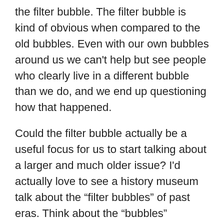the filter bubble. The filter bubble is kind of obvious when compared to the old bubbles. Even with our own bubbles around us we can't help but see people who clearly live in a different bubble than we do, and we end up questioning how that happened.
Could the filter bubble actually be a useful focus for us to start talking about a larger and much older issue? I'd actually love to see a history museum talk about the “filter bubbles” of past eras. Think about the “bubbles” humanity has lived in in the past: the biased exceptionalism of the Romans, the religious wars of countless eras, the invention and subsequent rise of nationalism, the Cold War… If anything, our